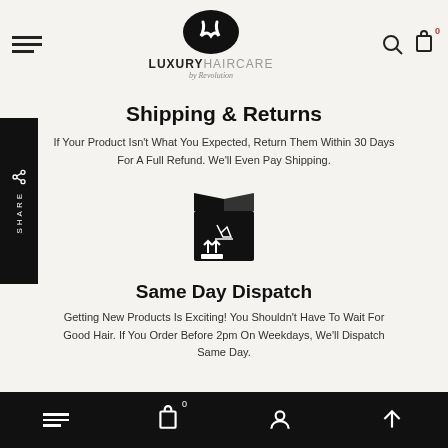[Figure (logo): Luxury Haircare by Revolution logo with swirl hair icon]
Shipping & Returns
If Your Product Isn't What You Expected, Return Them Within 30 Days For A Full Refund. We'll Even Pay Shipping.
[Figure (illustration): Package box icon for same day dispatch]
Same Day Dispatch
Getting New Products Is Exciting! You Shouldn't Have To Wait For Good Hair. If You Order Before 2pm On Weekdays, We'll Dispatch Same Day.